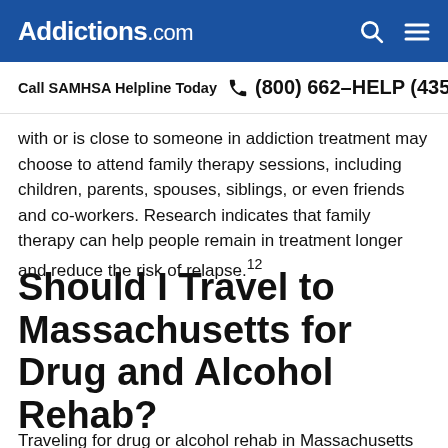Addictions.com
Call SAMHSA Helpline Today  (800) 662-HELP (4357)
with or is close to someone in addiction treatment may choose to attend family therapy sessions, including children, parents, spouses, siblings, or even friends and co-workers. Research indicates that family therapy can help people remain in treatment longer and reduce the risk of relapse.12
Should I Travel to Massachusetts for Drug and Alcohol Rehab?
Traveling for drug or alcohol rehab in Massachusetts